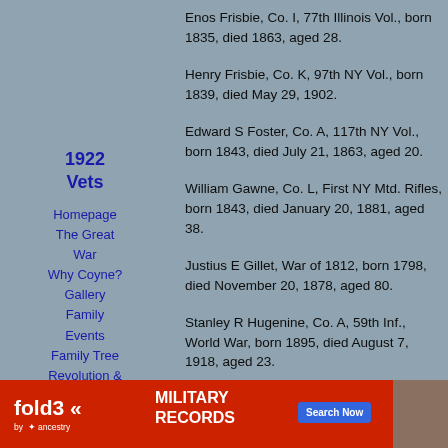Enos Frisbie, Co. I, 77th Illinois Vol., born 1835, died 1863, aged 28.
1922 Vets
Henry Frisbie, Co. K, 97th NY Vol., born 1839, died May 29, 1902.
Homepage
The Great War
Why Coyne?
Gallery
Family
Events
Family Tree
Revolution & 1812
Links
Contact me
My Blog
Edward S Foster, Co. A, 117th NY Vol., born 1843, died July 21, 1863, aged 20.
William Gawne, Co. L, First NY Mtd. Rifles, born 1843, died January 20, 1881, aged 38.
Justius E Gillet, War of 1812, born 1798, died November 20, 1878, aged 80.
Stanley R Hugenine, Co. A, 59th Inf., World War, born 1895, died August 7, 1918, aged 23.
Daniel Mills Hall, born October 22, 1849, died
[Figure (infographic): Fold3 by Ancestry advertisement banner for Military Records with Search Now button]